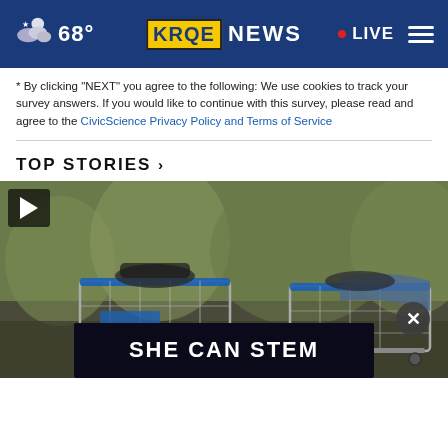68° KRQE NEWS • LIVE
* By clicking "NEXT" you agree to the following: We use cookies to track your survey answers. If you would like to continue with this survey, please read and agree to the CivicScience Privacy Policy and Terms of Service
TOP STORIES ›
[Figure (photo): Video thumbnail showing shopping carts with belongings, outdoor scene with greenery background. Play button in top-left corner. An advertisement overlay at the bottom reads 'SHE CAN STEM' with a close (X) button.]